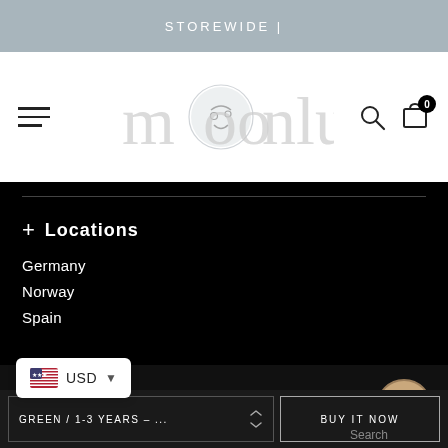STOREWIDE |
[Figure (logo): Moonbun brand logo in light gray script with a circular moon illustration in the center]
+ Locations
Germany
Norway
Spain
© Copyright 2022 Moonbun all rights reserved.
USD
GREEN / 1-3 YEARS – ...
BUY IT NOW
Search